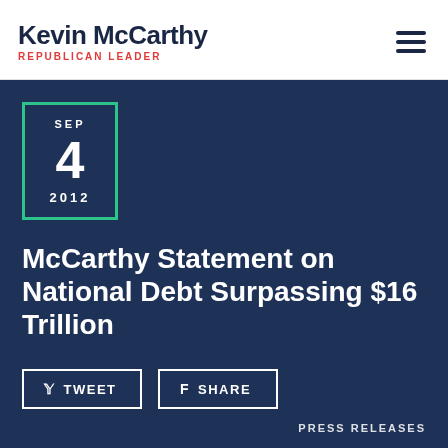Kevin McCarthy REPUBLICAN LEADER
SEP 4 2012
McCarthy Statement on National Debt Surpassing $16 Trillion
TWEET   SHARE
PRESS RELEASES